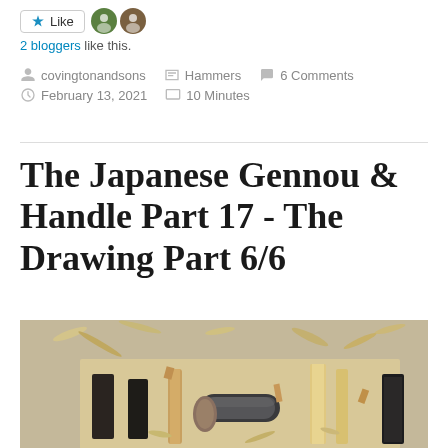Like  2 bloggers like this.
covingtonandsons   Hammers   6 Comments   February 13, 2021   10 Minutes
The Japanese Gennou & Handle Part 17 - The Drawing Part 6/6
[Figure (photo): Overhead view of woodworking tools including hammers and wooden handles on a workbench surface with wood shavings]